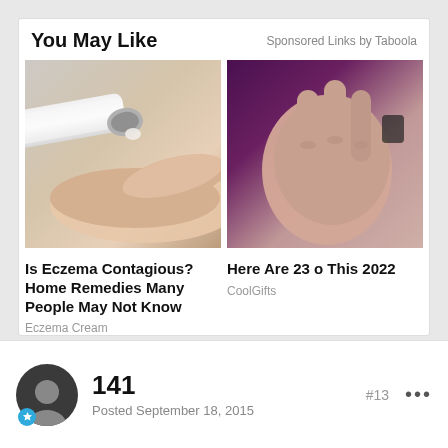You May Like
Sponsored Links by Taboola
[Figure (photo): Photo of cream being squeezed from a white tube onto a finger]
[Figure (photo): Close-up photo of skin on hand being scratched, with purple background]
Is Eczema Contagious? Home Remedies Many People May Not Know
Eczema Cream
Here Are 23 o This 2022
CoolGifts
141
Posted September 18, 2015
#13
•••